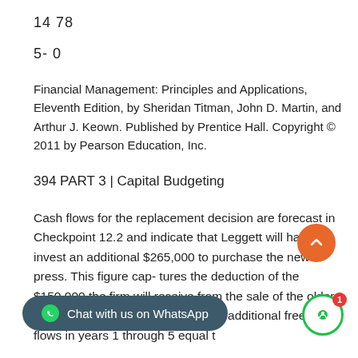14 78
5- 0
Financial Management: Principles and Applications, Eleventh Edition, by Sheridan Titman, John D. Martin, and Arthur J. Keown. Published by Prentice Hall. Copyright © 2011 by Pearson Education, Inc.
394 PART 3 | Capital Budgeting
Cash flows for the replacement decision are forecast in Checkpoint 12.2 and indicate that Leggett will have to invest an additional $265,000 to purchase the new press. This figure cap- tures the deduction of the $150,000 the firm will receive from the sale of the older [press. Leggett] expects to generate additional free cash flows in years 1 through 5 equal to $[xx,xxx from the previous investment plus the new]...